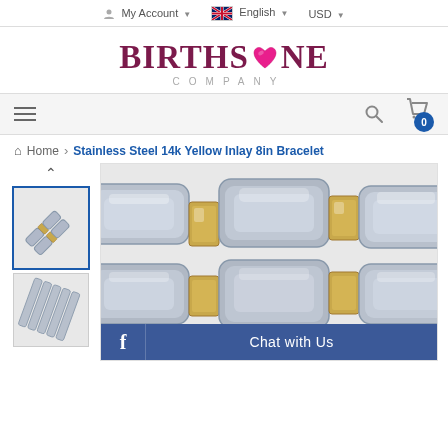My Account  English  USD
[Figure (logo): BIRTHSTONE COMPANY logo with pink heart replacing the O in STONE]
[Figure (screenshot): Navigation bar with hamburger menu, search icon, and cart badge showing 0]
Home > Stainless Steel 14k Yellow Inlay 8in Bracelet
[Figure (photo): Thumbnail images of Stainless Steel 14k Yellow Inlay 8in Bracelet - small links chain]
[Figure (photo): Main product image: Stainless Steel 14k Yellow Inlay 8in Bracelet close-up showing silver links with gold inlay bar]
f  Chat with Us